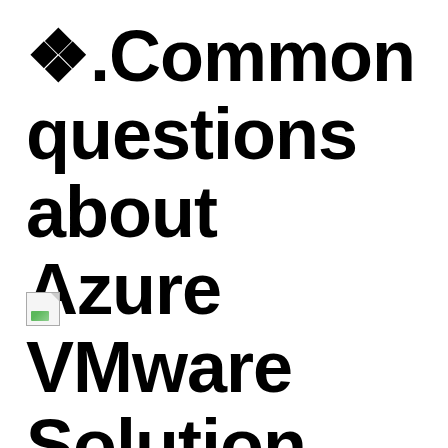❖.Common questions about Azure VMware Solution
[Figure (photo): Small broken/placeholder image icon with a green landscape thumbnail at bottom left, shown as a document icon with dog-eared corner]